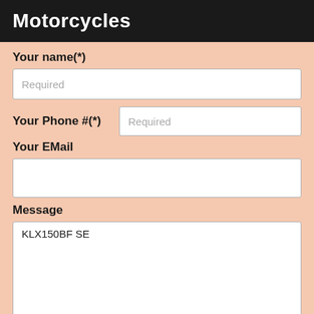Motorcycles
Your name(*)
Required
Your Phone #(*)
Required
Your EMail
Message
KLX150BF SE